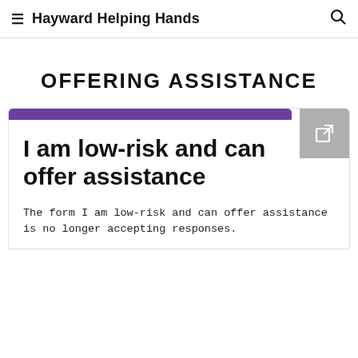≡ Hayward Helping Hands 🔍
OFFERING ASSISTANCE
[Figure (screenshot): Card with purple top bar and external link icon, showing heading 'I am low-risk and can offer assistance' and description text below]
I am low-risk and can offer assistance
The form I am low-risk and can offer assistance is no longer accepting responses.